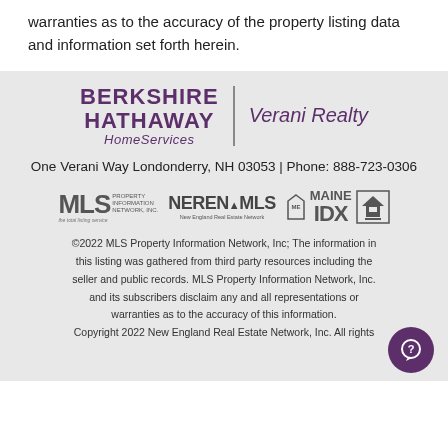warranties as to the accuracy of the property listing data and information set forth herein.
[Figure (logo): Berkshire Hathaway HomeServices | Verani Realty logo]
One Verani Way Londonderry, NH 03053 | Phone: 888-723-0306
[Figure (logo): MLS Property Information Network, NEREN MLS New England Real Estate Network, Maine IDX, and Equal Housing logos]
©2022 MLS Property Information Network, Inc; The information in this listing was gathered from third party resources including the seller and public records. MLS Property Information Network, Inc. and its subscribers disclaim any and all representations or warranties as to the accuracy of this information. Copyright 2022 New England Real Estate Network, Inc. All rights